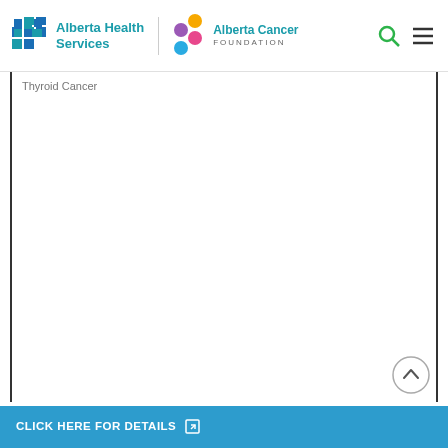[Figure (logo): Alberta Health Services logo with blue cross icon and teal text]
[Figure (logo): Alberta Cancer Foundation logo with colorful bubbles]
Thyroid Cancer
CLICK HERE FOR DETAILS